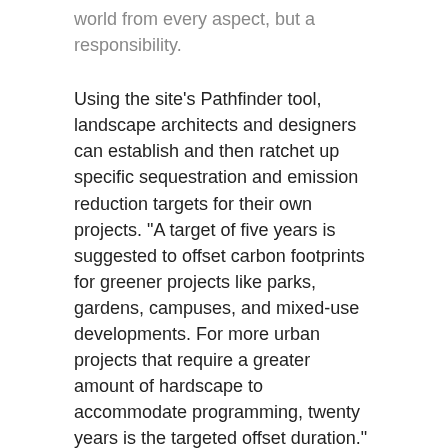world from every aspect, but a responsibility.
Using the site's Pathfinder tool, landscape architects and designers can establish and then ratchet up specific sequestration and emission reduction targets for their own projects. “A target of five years is suggested to offset carbon footprints for greener projects like parks, gardens, campuses, and mixed-use developments. For more urban projects that require a greater amount of hardscape to accommodate programming, twenty years is the targeted offset duration.”
Through her research, which includes illustrative and useful case studies produced with CMG, Conrad found that “targets could be met without changing the program or reducing the quality – the projects merely became greener.”